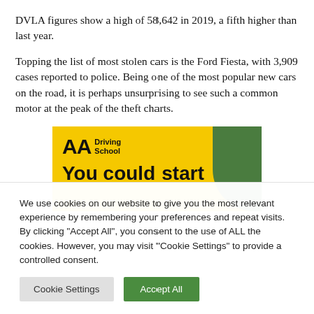DVLA figures show a high of 58,642 in 2019, a fifth higher than last year.
Topping the list of most stolen cars is the Ford Fiesta, with 3,909 cases reported to police. Being one of the most popular new cars on the road, it is perhaps unsurprising to see such a common motor at the peak of the theft charts.
[Figure (other): AA Driving School advertisement banner with yellow background, AA logo, and text 'You could start']
We use cookies on our website to give you the most relevant experience by remembering your preferences and repeat visits. By clicking "Accept All", you consent to the use of ALL the cookies. However, you may visit "Cookie Settings" to provide a controlled consent.
Cookie Settings | Accept All